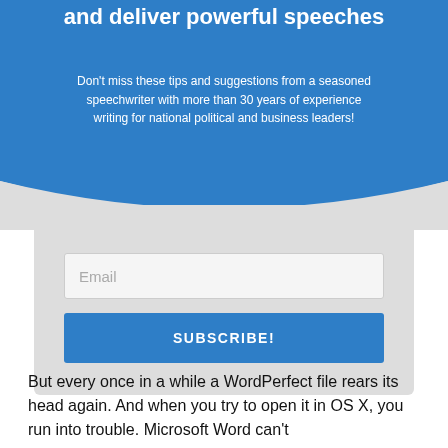and deliver powerful speeches
Don't miss these tips and suggestions from a seasoned speechwriter with more than 30 years of experience writing for national political and business leaders!
Email
SUBSCRIBE!
But every once in a while a WordPerfect file rears its head again. And when you try to open it in OS X, you run into trouble. Microsoft Word can't